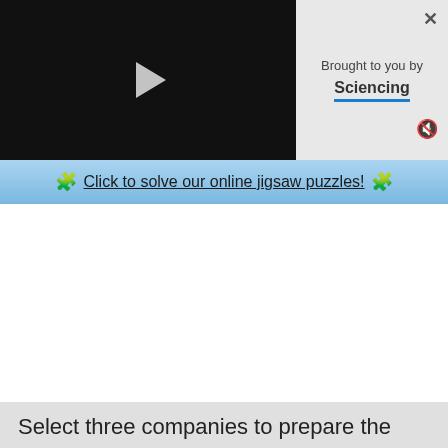[Figure (screenshot): Video player panel with black background and white play button triangle]
[Figure (screenshot): Ad panel with 'Brought to you by Sciencing' text, close X button, and mute button]
🧩 Click to solve our online jigsaw puzzles! 🧩
Select three companies to prepare the appraisal. You may want to choose a local company if you have a large collection.